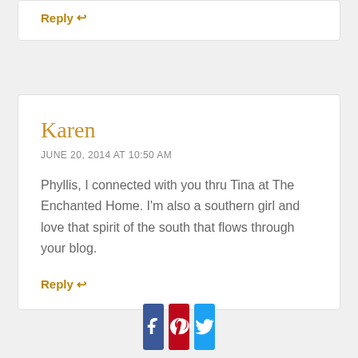Reply ↩
Karen
JUNE 20, 2014 AT 10:50 AM
Phyllis, I connected with you thru Tina at The Enchanted Home. I'm also a southern girl and love that spirit of the south that flows through your blog.
Reply ↩